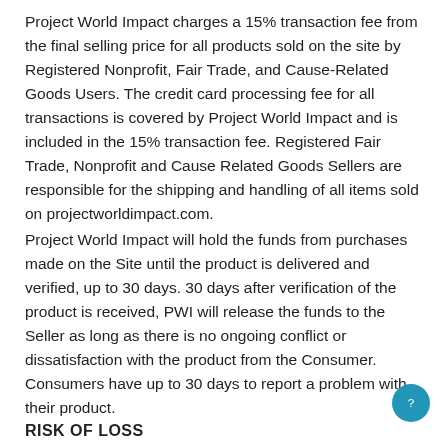Project World Impact charges a 15% transaction fee from the final selling price for all products sold on the site by Registered Nonprofit, Fair Trade, and Cause-Related Goods Users. The credit card processing fee for all transactions is covered by Project World Impact and is included in the 15% transaction fee. Registered Fair Trade, Nonprofit and Cause Related Goods Sellers are responsible for the shipping and handling of all items sold on projectworldimpact.com.
Project World Impact will hold the funds from purchases made on the Site until the product is delivered and verified, up to 30 days. 30 days after verification of the product is received, PWI will release the funds to the Seller as long as there is no ongoing conflict or dissatisfaction with the product from the Consumer. Consumers have up to 30 days to report a problem with their product.
RISK OF LOSS